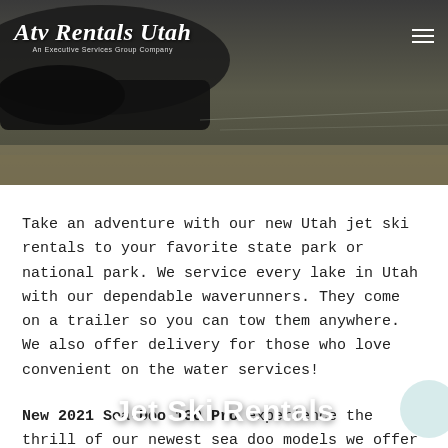Atv Rentals Utah – An Executive Services Group Company
Jet Ski Rentals
Take an adventure with our new Utah jet ski rentals to your favorite state park or national park.  We service every lake in Utah with our dependable waverunners.  They come on a trailer so you can tow them anywhere.  We also offer delivery for those who love convenient on the water services!
New 2021 Sea-Doo 130 Pro experience the thrill of our newest sea doo models we offer that seats up